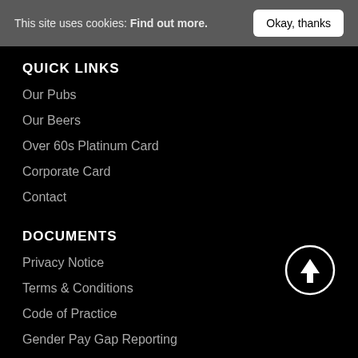This site uses cookies: Find out more. Okay, thanks
QUICK LINKS
Our Pubs
Our Beers
Over 60s Platinum Card
Corporate Card
Contact
DOCUMENTS
Privacy Notice
Terms & Conditions
Code of Practice
Gender Pay Gap Reporting
[Figure (illustration): Circular scroll-to-top button with upward arrow, white outline on black background]